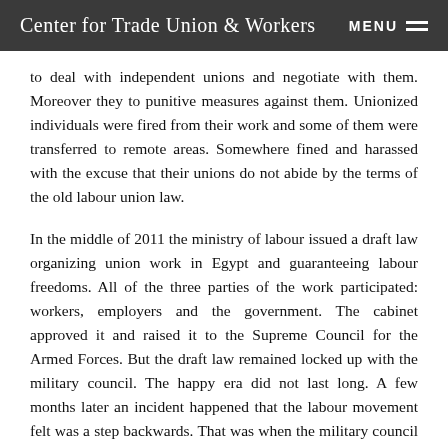Center for Trade Union & Workers  MENU
to deal with independent unions and negotiate with them. Moreover they to punitive measures against them. Unionized individuals were fired from their work and some of them were transferred to remote areas. Somewhere fined and harassed with the excuse that their unions do not abide by the terms of the old labour union law.
In the middle of 2011 the ministry of labour issued a draft law organizing union work in Egypt and guaranteeing labour freedoms. All of the three parties of the work participated: workers, employers and the government. The cabinet approved it and raised it to the Supreme Council for the Armed Forces. But the draft law remained locked up with the military council. The happy era did not last long. A few months later an incident happened that the labour movement felt was a step backwards. That was when the military council issued its military order